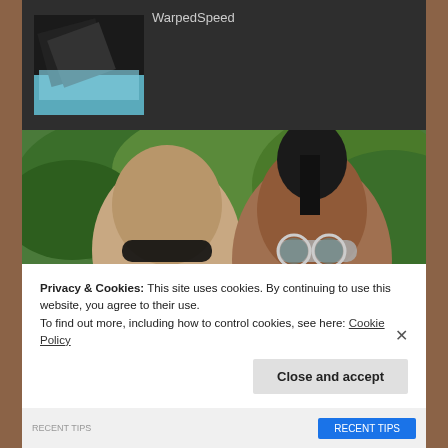WarpedSpeed
[Figure (photo): Photo of two people outdoors wearing sunglasses, with lush green trees and gardens in the background. The man on the left wears a blue checked shirt, the woman on the right wears a blue top.]
Privacy & Cookies: This site uses cookies. By continuing to use this website, you agree to their use.
To find out more, including how to control cookies, see here: Cookie Policy
Close and accept